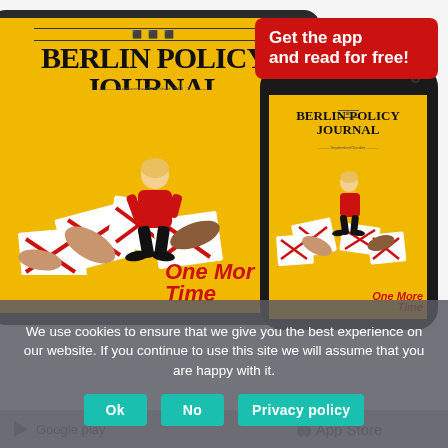[Figure (screenshot): Advertisement showing Berlin Policy Journal app on tablet and smartphone devices with a yellow cover featuring 'One More Time' issue. Red badge top-right reads 'Get the app and read for free!']
We use cookies to ensure that we give you the best experience on our website. If you continue to use this site we will assume that you are happy with it.
Ok
No
Privacy policy
Google play
App Store